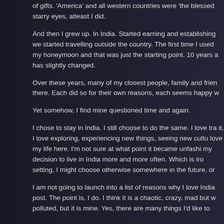of gifts. 'America' and all western countries were 'the blessed starry eyes, atleast I did.

And then I grew up. In India. Started earning and establishing we started travelling outside the country. The first time I used my honeymoon and that was just the starting point. 10 years a has slightly changed.

Over these years, many of my closest people, family and frien there. Each did so for their own reasons, each seems happy w

Yet somehow, I find mine questioned time and again.

I chose to stay in India. I still choose to do the same. I love tra it. I love exploring, experiencing new things, seeing new cultu love my life here. I'm not sure at what point it became unfashi my decision to live in India more and more often. Which is iro setting. I might choose otherwise somewhere in the future, or

I am not going to launch into a list of reasons why I love India post. The point is, I do. I think it is a chaotic, crazy, mad but w polluted, but it is mine. Yes, there are many things I'd like to